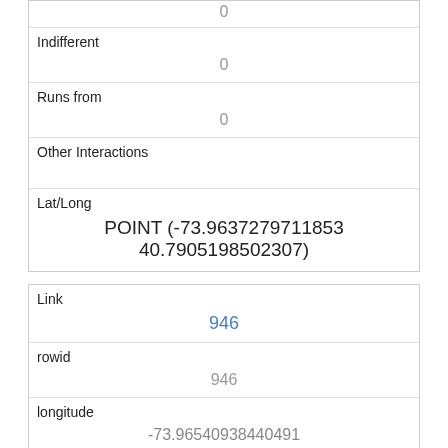|  | 0 |
| Indifferent | 0 |
| Runs from | 0 |
| Other Interactions |  |
| Lat/Long | POINT (-73.9637279711853 40.7905198502307) |
| Link | 946 |
| rowid | 946 |
| longitude | -73.96540938440491 |
| latitude | 40.7806896368469 |
| Unique Squirrel ID | 20F-PM-1007-09 |